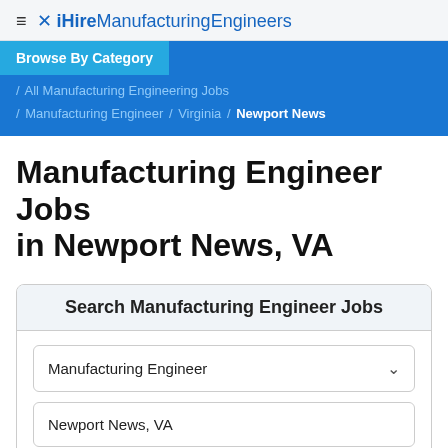≡ ✕ iHireManufacturingEngineers
Browse By Category
/ All Manufacturing Engineering Jobs / Manufacturing Engineer / Virginia / Newport News
Manufacturing Engineer Jobs in Newport News, VA
Search Manufacturing Engineer Jobs
Manufacturing Engineer
Newport News, VA
Search